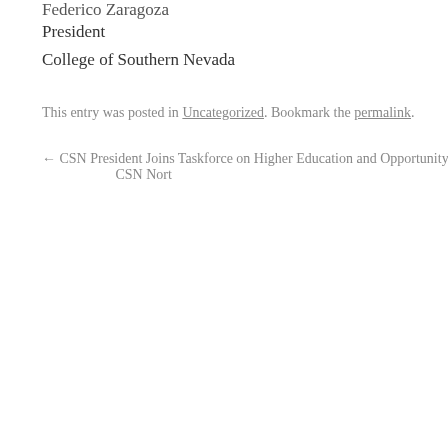Federico Zaragoza
President
College of Southern Nevada
This entry was posted in Uncategorized. Bookmark the permalink.
← CSN President Joins Taskforce on Higher Education and Opportunity    CSN Nort…